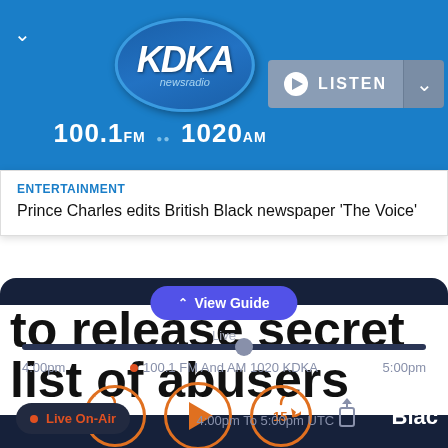[Figure (screenshot): KDKA Newsradio app header with logo, 100.1FM and 1020AM frequencies, and LISTEN button]
ENTERTAINMENT
Prince Charles edits British Black newspaper 'The Voice'
to release secret list of abusers
[Figure (screenshot): Radio player UI with View Guide button, Live timeline scrubber showing 4:00pm to 5:00pm, station 100.1 FM And AM 1020 KDKA, playback controls (rewind 15, play, forward 15, share), Live On-Air badge, time 4:00pm To 5:00pm UTC, and Blac text]
4:00pm    100.1 FM And AM 1020 KDKA    5:00pm
Live On-Air
4:00pm To 5:00pm UTC
Blac